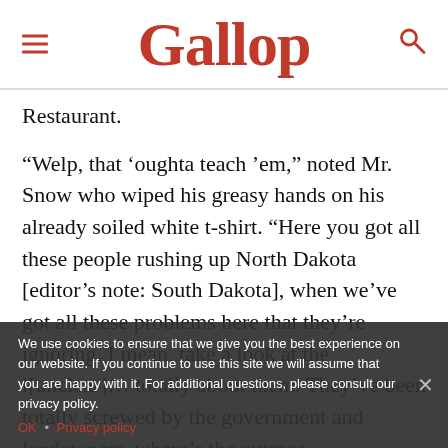Gallop
Restaurant.
“Welp, that ‘oughta teach ’em,” noted Mr. Snow who wiped his greasy hands on his already soiled white t-shirt. “Here you got all these people rushing up North Dakota [editor’s note: South Dakota], when we’ve got all these problems here that they’re ignoring. I mean, take a look at the [unclear text] … totally screwed by the them. They’ve been totally screwed by the government and landowners. where’s the outrage,
We use cookies to ensure that we give you the best experience on our website. If you continue to use this site we will assume that you are happy with it. For additional questions, please consult our privacy policy.